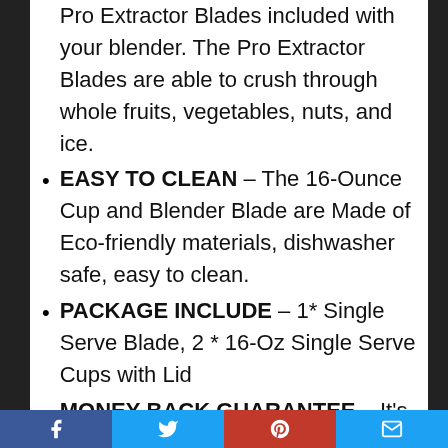Pro Extractor Blades included with your blender. The Pro Extractor Blades are able to crush through whole fruits, vegetables, nuts, and ice.
EASY TO CLEAN – The 16-Ounce Cup and Blender Blade are Made of Eco-friendly materials, dishwasher safe, easy to clean.
PACKAGE INCLUDE – 1* Single Serve Blade, 2 * 16-Oz Single Serve Cups with Lid
MONEY-BACK GUARANTEE – It's non-original aftermarket part. for any reason you're not completely